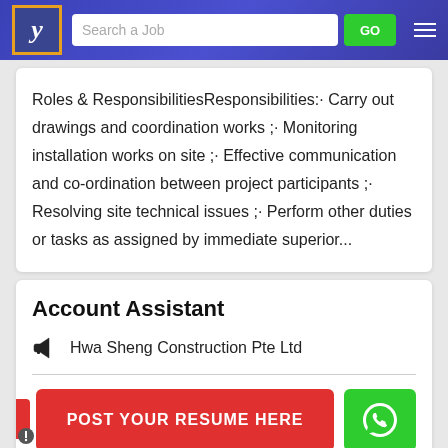[Figure (screenshot): Website header with logo, search bar, GO button, and hamburger menu on blue gradient background]
Roles & ResponsibilitiesResponsibilities:· Carry out drawings and coordination works ;· Monitoring installation works on site ;· Effective communication and co-ordination between project participants ;· Resolving site technical issues ;· Perform other duties or tasks as assigned by immediate superior...
Account Assistant
Hwa Sheng Construction Pte Ltd
[Figure (screenshot): POST YOUR RESUME HERE red button and WhatsApp green button]